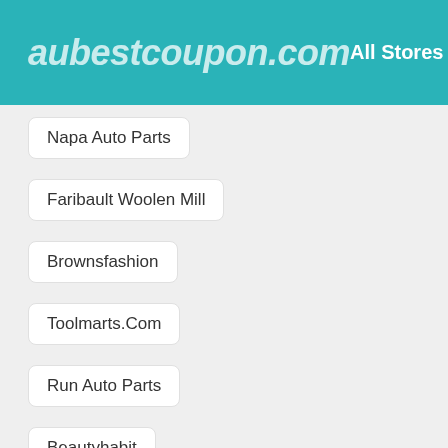aubestcoupon.com    All Stores
Napa Auto Parts
Faribault Woolen Mill
Brownsfashion
Toolmarts.Com
Run Auto Parts
Beautyhabit
Ryman Auditorium
Volition